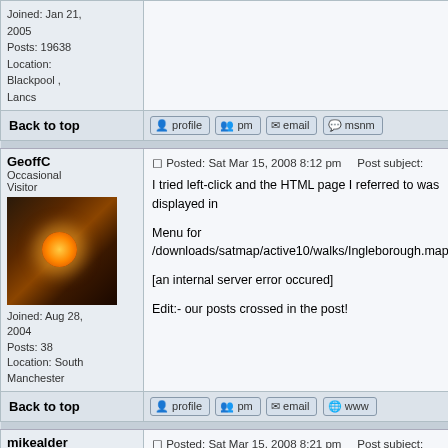Joined: Jan 21, 2005
Posts: 19638
Location: Blackpool , Lancs
Back to top | profile | pm | email | msnm
GeoffC
Occasional Visitor
Joined: Aug 28, 2004
Posts: 38
Location: South Manchester
Posted: Sat Mar 15, 2008 8:12 pm   Post subject:
I tried left-click and the HTML page I referred to was displayed in
Menu for /downloads/satmap/active10/walks/Ingleborough.map
[an internal server error occured]
Edit:- our posts crossed in the post!
Back to top | profile | pm | email | www
mikealder
Pocket GPS Moderator
Moderator
Posted: Sat Mar 15, 2008 8:21 pm   Post subject:
Try it now it works for me, so you should find the same result - Mi